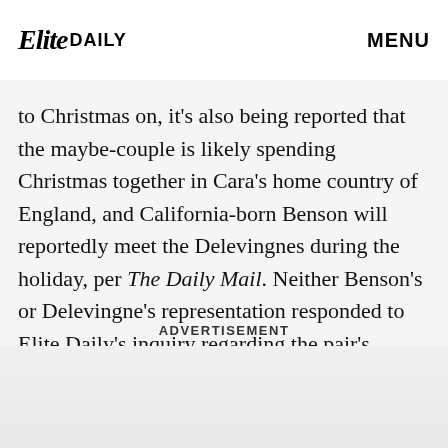Elite Daily | MENU
took turns pushing their stacked suitcases around the baggage claim and into the airport. Arriving so close to Christmas on, it's also being reported that the maybe-couple is likely spending Christmas together in Cara's home country of England, and California-born Benson will reportedly meet the Delevingnes during the holiday, per The Daily Mail. Neither Benson's or Delevingne's representation responded to Elite Daily's inquiry regarding the pair's Christmas plans.
ADVERTISEMENT